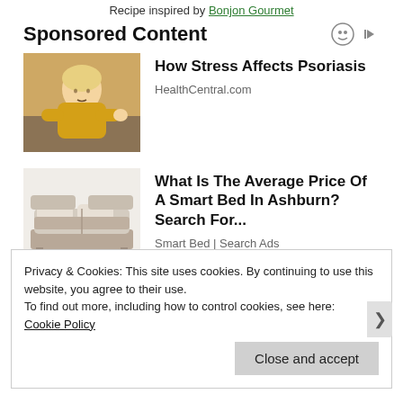Recipe inspired by Bonjon Gourmet
Sponsored Content
[Figure (photo): Woman in yellow sweater scratching her arm, illustrating stress and psoriasis]
How Stress Affects Psoriasis
HealthCentral.com
[Figure (photo): Image of a smart adjustable bed with multiple sections]
What Is The Average Price Of A Smart Bed In Ashburn? Search For...
Smart Bed | Search Ads
Privacy & Cookies: This site uses cookies. By continuing to use this website, you agree to their use.
To find out more, including how to control cookies, see here:
Cookie Policy
Close and accept